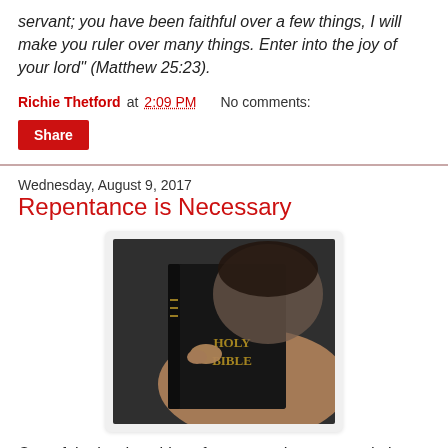servant; you have been faithful over a few things, I will make you ruler over many things. Enter into the joy of your lord" (Matthew 25:23).
Richie Thetford at 2:09 PM   No comments:
Share
Wednesday, August 9, 2017
Repentance is Necessary
[Figure (photo): A person holding a black Holy Bible close to their face, with fingers resting on the spine of the book.]
One of the hardest things for men and women to do is to repent of their sins. Repentance is a direct challenge to man’s will power. It demands that he humble himself before